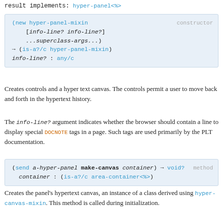result implements: hyper-panel<%>
[Figure (screenshot): Code block showing constructor for hyper-panel-mixin with parameters info-line? and ...superclass-args..., returning (is-a?/c hyper-panel-mixin), info-line? : any/c]
Creates controls and a hyper text canvas. The controls permit a user to move back and forth in the hypertext history.
The info-line? argument indicates whether the browser should contain a line to display special DOCNOTE tags in a page. Such tags are used primarily by the PLT documentation.
[Figure (screenshot): Code block showing method: (send a-hyper-panel make-canvas container) -> void?, container : (is-a?/c area-container<%>)]
Creates the panel's hypertext canvas, an instance of a class derived using hyper-canvas-mixin. This method is called during initialization.
[Figure (screenshot): Code block showing method: (send a-hyper-panel get-canvas%) -> (subclass?/c editor-canvas%)]
Returns the class instantiated by make-canvas. It must be derived from hyper-canvas-mixin.